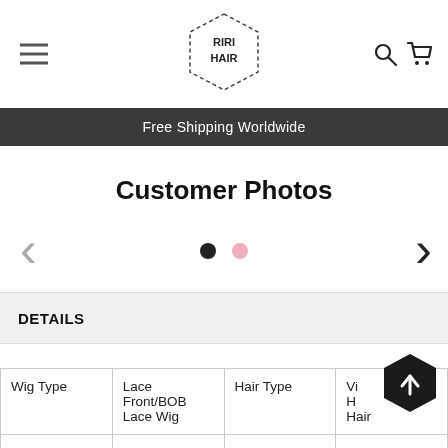RIRI HAIR
Free Shipping Worldwide
Customer Photos
[Figure (other): Carousel navigation: left arrow, two dots (one black, one pink), right arrow]
DETAILS
| Wig Type | Lace Front/BOB Lace Wig | Hair Type | Virgin Human Hair |
| --- | --- | --- | --- |
| Hair Color | Natural Color | Hair Texture | Yaki Straight |